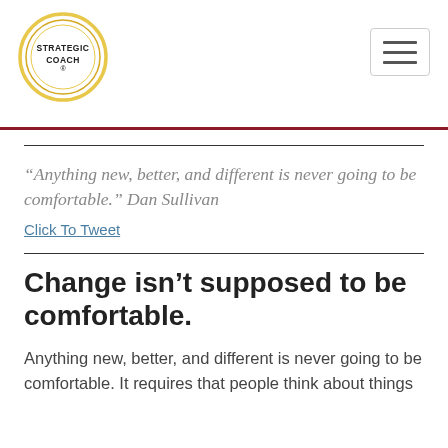Strategic Coach® — navigation header with logo and hamburger menu
“Anything new, better, and different is never going to be comfortable.” Dan Sullivan
Click To Tweet
Change isn’t supposed to be comfortable.
Anything new, better, and different is never going to be comfortable. It requires that people think about things